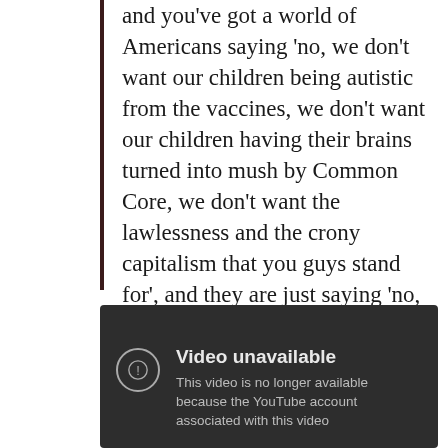and you’ve got a world of Americans saying ‘no, we don’t want our children being autistic from the vaccines, we don’t want our children having their brains turned into mush by Common Core, we don’t want the lawlessness and the crony capitalism that you guys stand for’, and they are just saying ‘no, no, no, no.’
[Figure (screenshot): YouTube video unavailable screen with dark background showing 'Video unavailable' message and 'This video is no longer available because the YouTube account associated with this video' text]